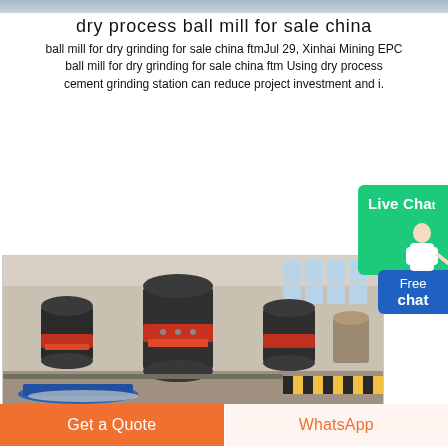[Figure (photo): Top strip showing partial image of industrial equipment]
dry process ball mill for sale china
ball mill for dry grinding for sale china ftmJul 29, Xinhai Mining EPC ball mill for dry grinding for sale china ftm Using dry process cement grinding station can reduce project investment and i.
[Figure (photo): Industrial ball mill machines in a large manufacturing facility. Multiple large cylindrical grinding mills with red and black components arranged in a warehouse/factory setting with high ceilings and industrial lighting.]
Live Chat
Free chat
Get a Quote
WhatsApp